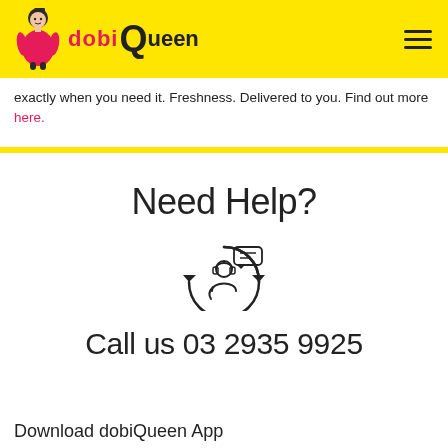[Figure (logo): dobiQueen logo with cartoon figure in pink dress and yellow background, with hamburger menu icon]
exactly when you need it. Freshness. Delivered to you. Find out more here.
Need Help?
[Figure (illustration): Customer support icon - person with headset and speech bubble with circular arrows]
Call us 03 2935 9925
Download dobiQueen App